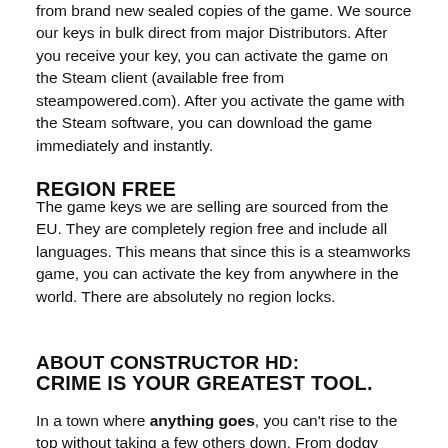from brand new sealed copies of the game. We source our keys in bulk direct from major Distributors. After you receive your key, you can activate the game on the Steam client (available free from steampowered.com). After you activate the game with the Steam software, you can download the game immediately and instantly.
REGION FREE
The game keys we are selling are sourced from the EU. They are completely region free and include all languages. This means that since this is a steamworks game, you can activate the key from anywhere in the world. There are absolutely no region locks.
ABOUT CONSTRUCTOR HD:
CRIME IS YOUR GREATEST TOOL.
In a town where anything goes, you can't rise to the top without taking a few others down. From dodgy deals to shifty tricks, do what you gotta do to go from small-time slumlord to filthy rich tycoon.